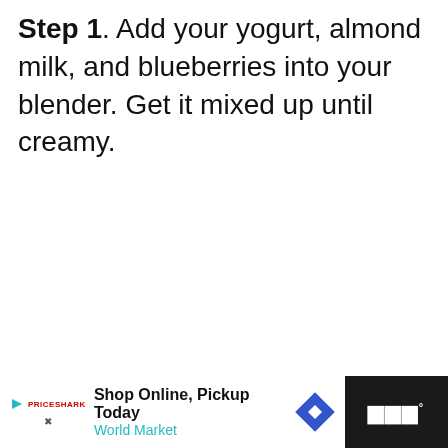Step 1. Add your yogurt, almond milk, and blueberries into your blender. Get it mixed up until creamy.
[Figure (other): Light gray content placeholder area with three small dots in the center, a teal heart/like button (65 likes) and a share button on the right side, and a 'What's Next - Breakfast Banana Split' panel at the bottom right.]
Shop Online, Pickup Today | World Market | advertisement